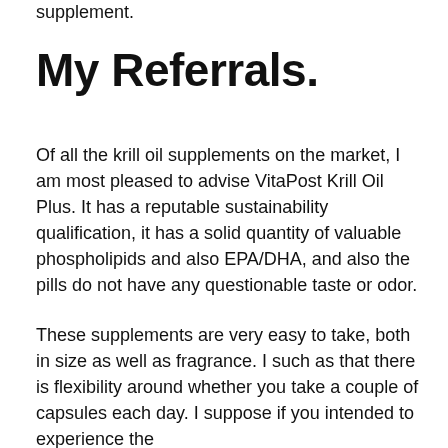supplement.
My Referrals.
Of all the krill oil supplements on the market, I am most pleased to advise VitaPost Krill Oil Plus. It has a reputable sustainability qualification, it has a solid quantity of valuable phospholipids and also EPA/DHA, and also the pills do not have any questionable taste or odor.
These supplements are very easy to take, both in size as well as fragrance. I such as that there is flexibility around whether you take a couple of capsules each day. I suppose if you intended to experience the